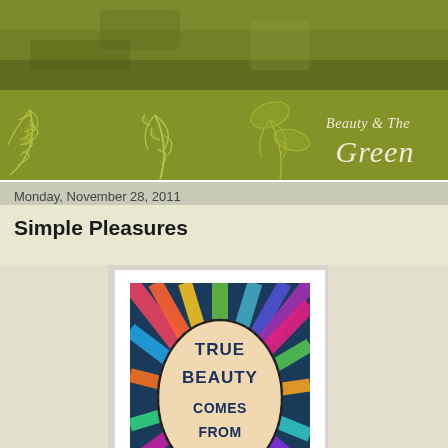[Figure (illustration): Dark olive green textured header background with mottled appearance]
[Figure (illustration): Green banner with botanical leaf illustrations on left and script text 'Beauty & The Green' on the right in cream/ivory color]
Monday, November 28, 2011
Simple Pleasures
[Figure (photo): Framed artwork in a white frame showing colorful swirling patterns with an oval containing the text 'TRUE BEAUTY COMES FROM' in bold letters]